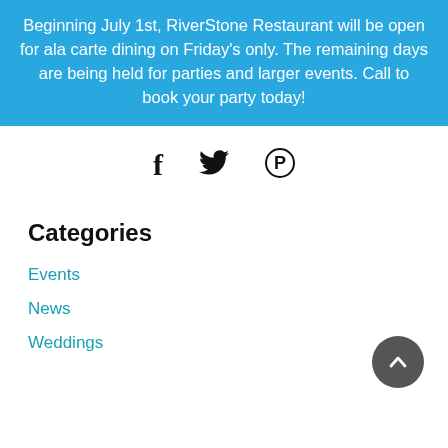Beginning July 1st, RiverStone Restaurant will be open for ala carte dining on Friday's only. The remaining days are being held for parties and larger events. Call to book your party today!
[Figure (other): Social media share icons: Facebook (f), Twitter (bird), Pinterest (P)]
Categories
Events
News
Weddings
[Figure (other): Back to top button - dark grey circular button with upward chevron arrow]